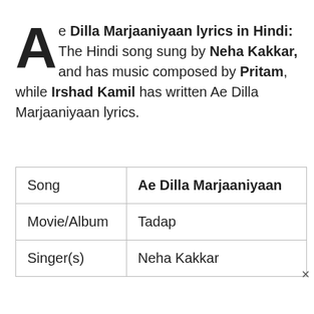Ae Dilla Marjaaniyaan lyrics in Hindi: The Hindi song sung by Neha Kakkar, and has music composed by Pritam, while Irshad Kamil has written Ae Dilla Marjaaniyaan lyrics.
| Song | Ae Dilla Marjaaniyaan |
| Movie/Album | Tadap |
| Singer(s) | Neha Kakkar |